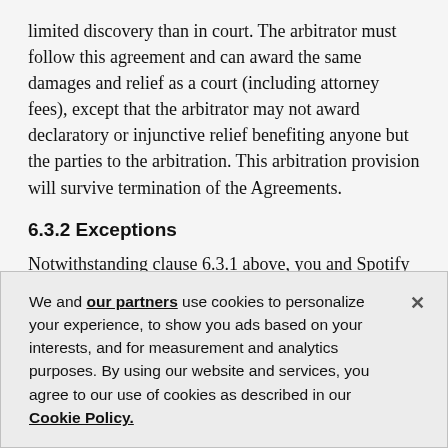limited discovery than in court. The arbitrator must follow this agreement and can award the same damages and relief as a court (including attorney fees), except that the arbitrator may not award declaratory or injunctive relief benefiting anyone but the parties to the arbitration. This arbitration provision will survive termination of the Agreements.
6.3.2 Exceptions
Notwithstanding clause 6.3.1 above, you and Spotify both agree that nothing herein will be deemed to waive, preclude, or otherwise limit either of our rights, at any time, to (1) bring an individual action in a small claims
We and our partners use cookies to personalize your experience, to show you ads based on your interests, and for measurement and analytics purposes. By using our website and services, you agree to our use of cookies as described in our Cookie Policy.